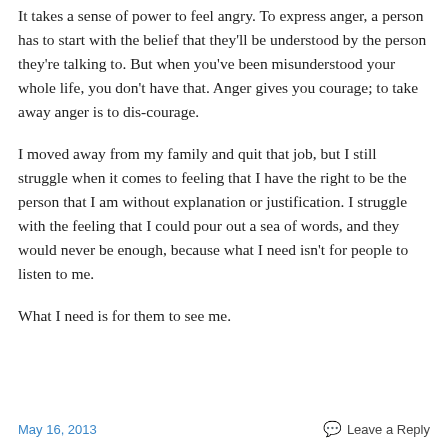It takes a sense of power to feel angry. To express anger, a person has to start with the belief that they'll be understood by the person they're talking to. But when you've been misunderstood your whole life, you don't have that. Anger gives you courage; to take away anger is to dis-courage.
I moved away from my family and quit that job, but I still struggle when it comes to feeling that I have the right to be the person that I am without explanation or justification. I struggle with the feeling that I could pour out a sea of words, and they would never be enough, because what I need isn't for people to listen to me.
What I need is for them to see me.
May 16, 2013   Leave a Reply